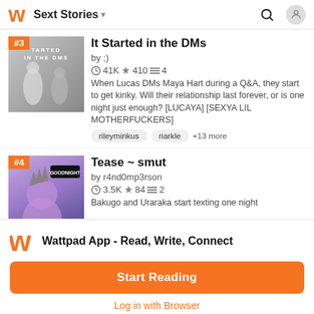Sext Stories
[Figure (screenshot): Cover image for 'It Started in the DMs' story, #3 ranked, black and white photo of two people]
It Started in the DMs
by ;)
41K ★ 410 ≡ 4
When Lucas DMs Maya Hart during a Q&A, they start to get kinky. Will their relationship last forever, or is one night just enough? [LUCAYA] [SEXYA LIL MOTHERFUCKERS]
rileyminkus   riarkle   +13 more
[Figure (screenshot): Cover image for 'Tease ~ smut' story, #4 ranked, anime character with purple background]
Tease ~ smut
by r4nd0mp3rson
3.5K ★ 84 ≡ 2
Bakugo and Uraraka start texting one night
Wattpad App - Read, Write, Connect
Start Reading
Log in with Browser